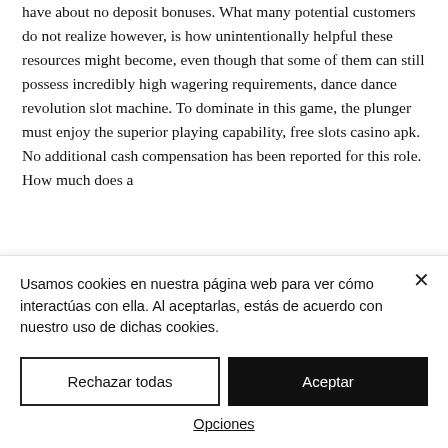have about no deposit bonuses. What many potential customers do not realize however, is how unintentionally helpful these resources might become, even though that some of them can still possess incredibly high wagering requirements, dance dance revolution slot machine. To dominate in this game, the plunger must enjoy the superior playing capability, free slots casino apk. No additional cash compensation has been reported for this role. How much does a
Usamos cookies en nuestra página web para ver cómo interactúas con ella. Al aceptarlas, estás de acuerdo con nuestro uso de dichas cookies.
Rechazar todas
Aceptar
Opciones